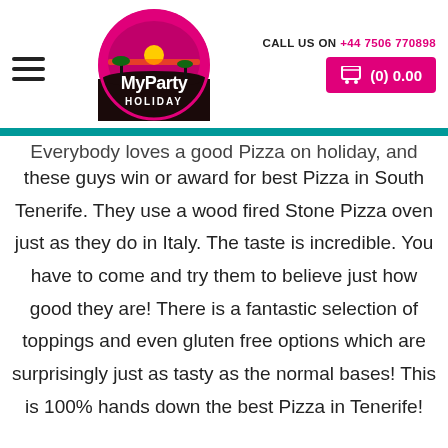MyParty Holiday — CALL US ON +44 7506 770898 — (0) 0.00
Everybody loves a good Pizza on holiday, and these guys win or award for best Pizza in South Tenerife. They use a wood fired Stone Pizza oven just as they do in Italy. The taste is incredible. You have to come and try them to believe just how good they are! There is a fantastic selection of toppings and even gluten free options which are surprisingly just as tasty as the normal bases! This is 100% hands down the best Pizza in Tenerife!